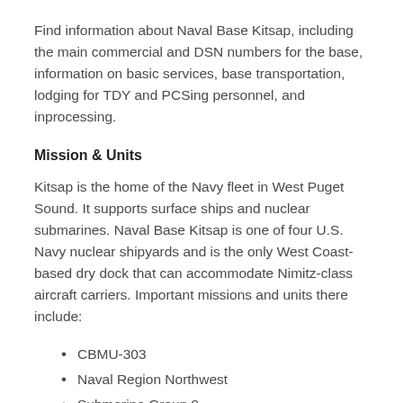Find information about Naval Base Kitsap, including the main commercial and DSN numbers for the base, information on basic services, base transportation, lodging for TDY and PCSing personnel, and inprocessing.
Mission & Units
Kitsap is the home of the Navy fleet in West Puget Sound. It supports surface ships and nuclear submarines. Naval Base Kitsap is one of four U.S. Navy nuclear shipyards and is the only West Coast-based dry dock that can accommodate Nimitz-class aircraft carriers. Important missions and units there include:
CBMU-303
Naval Region Northwest
Submarine Group 9